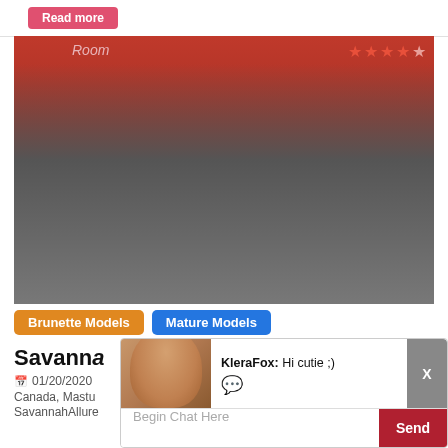Read more
[Figure (photo): Webcam model photo in a red room on a bed, with text overlaid 'Room' and star rating (4 out of 5 stars)]
Brunette Models
Mature Models
Savanna
01/20/2020
Canada, Mastu
SavannahAllure
[Figure (photo): Chat popup showing a curly-haired model avatar with message from KleraFox: Hi cutie ;)]
KleraFox: Hi cutie ;)
Begin Chat Here
Send